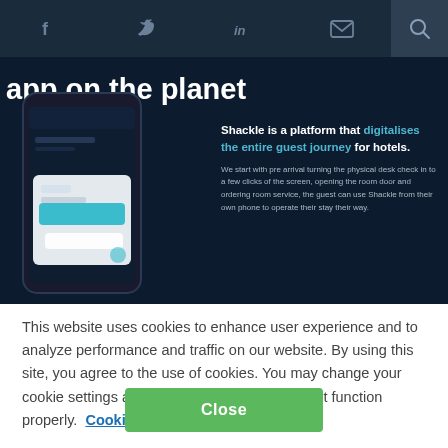f  [twitter]  in  [email]  [search]
[Figure (screenshot): Dark-themed website hero section showing partial headline 'app on the planet', a smartphone mockup with a hotel app UI, and text: 'Shackle is a platform that digitalises the entire guest journey for hotels. We start with pre arrival turning the physical desk check in to a few clicks of the screen, opening the room door and ordering room service, the guest can use Shackle from their own phone to operate their stay their way.']
This website uses cookies to enhance user experience and to analyze performance and traffic on our website. By using this site, you agree to the use of cookies. You may change your cookie settings at any time, but the site may not function properly.  Cookie Policy
Close